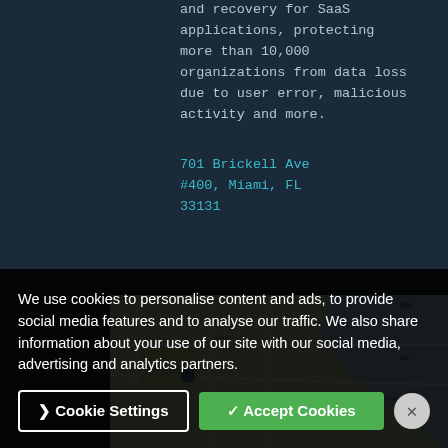and recovery for SaaS applications, protecting more than 10,000 organizations from data loss due to user error, malicious activity and more.
701 Brickell Ave #400, Miami, FL 33131
[Figure (map): Partial Google Maps view showing Brickell Park area in Miami, FL with streets and waterway visible]
We use cookies to personalise content and ads, to provide social media features and to analyse our traffic. We also share information about your use of our site with our social media, advertising and analytics partners.